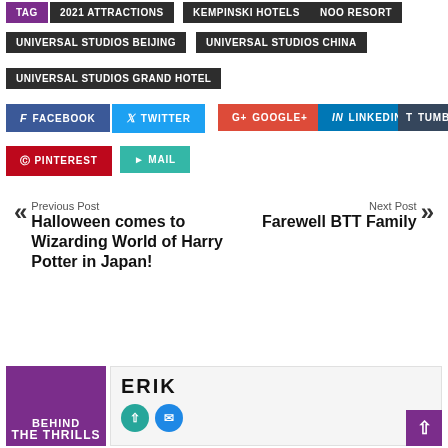TAG
2021 ATTRACTIONS
KEMPINSKI HOTELS
NOO RESORT
UNIVERSAL STUDIOS BEIJING
UNIVERSAL STUDIOS CHINA
UNIVERSAL STUDIOS GRAND HOTEL
FACEBOOK
TWITTER
GOOGLE+
LINKEDIN
TUMBLR
PINTEREST
MAIL
Previous Post
Halloween comes to Wizarding World of Harry Potter in Japan!
Next Post
Farewell BTT Family
ERIK
[Figure (logo): Behind The Thrills logo on purple background]